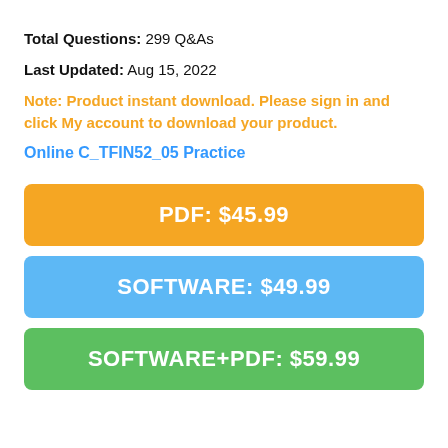Total Questions: 299 Q&As
Last Updated: Aug 15, 2022
Note: Product instant download. Please sign in and click My account to download your product.
Online C_TFIN52_05 Practice
[Figure (other): Orange button: PDF: $45.99]
[Figure (other): Blue button: SOFTWARE: $49.99]
[Figure (other): Green button: SOFTWARE+PDF: $59.99]